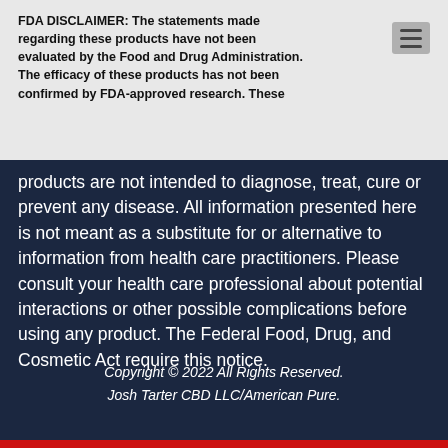[Figure (logo): American Pure logo with red AMERICAN text above dark blue PURE text]
FDA DISCLAIMER: The statements made regarding these products have not been evaluated by the Food and Drug Administration. The efficacy of these products has not been confirmed by FDA-approved research. These products are not intended to diagnose, treat, cure or prevent any disease. All information presented here is not meant as a substitute for or alternative to information from health care practitioners. Please consult your health care professional about potential interactions or other possible complications before using any product. The Federal Food, Drug, and Cosmetic Act require this notice.
Copyright © 2022 All Rights Reserved. Josh Tarter CBD LLC/American Pure.